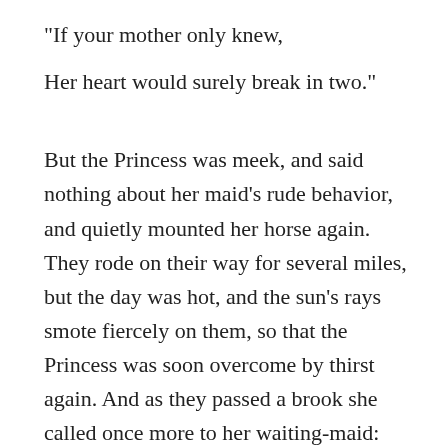"If your mother only knew,

Her heart would surely break in two."
But the Princess was meek, and said nothing about her maid's rude behavior, and quietly mounted her horse again. They rode on their way for several miles, but the day was hot, and the sun's rays smote fiercely on them, so that the Princess was soon overcome by thirst again. And as they passed a brook she called once more to her waiting-maid: "Pray get down and give me a drink from my golden cup," for she had long ago forgotten her maid's rude words. But the waiting-maid replied, more haughtily even than before: "If you want a drink, you can dismount